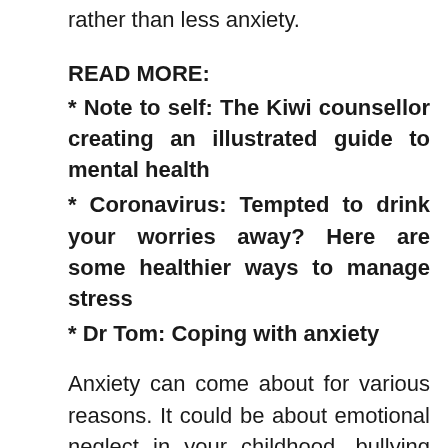rather than less anxiety.
READ MORE:
* Note to self: The Kiwi counsellor creating an illustrated guide to mental health
* Coronavirus: Tempted to drink your worries away? Here are some healthier ways to manage stress
* Dr Tom: Coping with anxiety
Anxiety can come about for various reasons. It could be about emotional neglect in your childhood, bullying when you were young or past trauma. People with PTSD often struggle with anxiety.